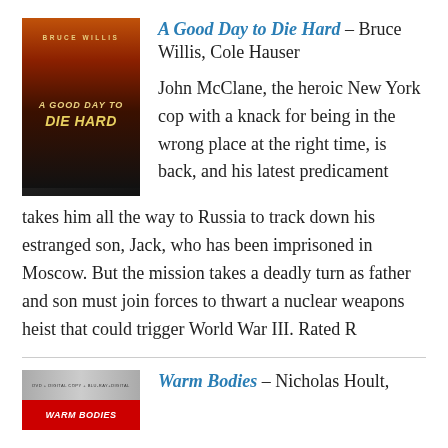[Figure (photo): Movie poster for A Good Day to Die Hard showing action figures and fiery background]
A Good Day to Die Hard – Bruce Willis, Cole Hauser
John McClane, the heroic New York cop with a knack for being in the wrong place at the right time, is back, and his latest predicament takes him all the way to Russia to track down his estranged son, Jack, who has been imprisoned in Moscow. But the mission takes a deadly turn as father and son must join forces to thwart a nuclear weapons heist that could trigger World War III. Rated R
[Figure (photo): Movie poster for Warm Bodies with red and grey color scheme]
Warm Bodies – Nicholas Hoult,